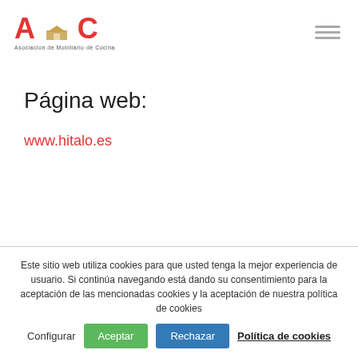[Figure (logo): AMC - Asociación de Mobiliario de Cocina logo with red text and small house icon]
Página web:
www.hitalo.es
Este sitio web utiliza cookies para que usted tenga la mejor experiencia de usuario. Si continúa navegando está dando su consentimiento para la aceptación de las mencionadas cookies y la aceptación de nuestra política de cookies
Configurar | Aceptar | Rechazar | Política de cookies